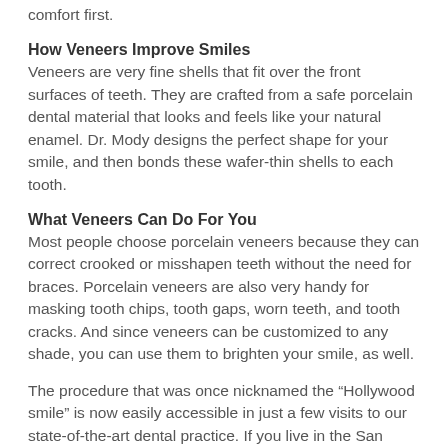comfort first.
How Veneers Improve Smiles
Veneers are very fine shells that fit over the front surfaces of teeth. They are crafted from a safe porcelain dental material that looks and feels like your natural enamel. Dr. Mody designs the perfect shape for your smile, and then bonds these wafer-thin shells to each tooth.
What Veneers Can Do For You
Most people choose porcelain veneers because they can correct crooked or misshapen teeth without the need for braces. Porcelain veneers are also very handy for masking tooth chips, tooth gaps, worn teeth, and tooth cracks. And since veneers can be customized to any shade, you can use them to brighten your smile, as well.
The procedure that was once nicknamed the “Hollywood smile” is now easily accessible in just a few visits to our state-of-the-art dental practice. If you live in the San Jose, we